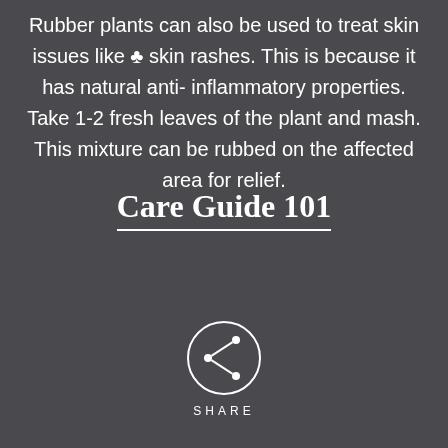Rubber plants can also be used to treat skin issues like ♣ skin rashes. This is because it has natural anti-inflammatory properties. Take 1-2 fresh leaves of the plant and mash. This mixture can be rubbed on the affected area for relief.
Care Guide 101
[Figure (illustration): Share button: a circle with a share icon (branching arrows) inside, and the word SHARE below in spaced capital letters]